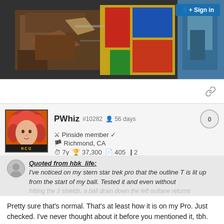[Figure (photo): Top portion of a photo showing damaged/worn arcade or pinball machine parts with metal, wood, and colorful components on a dark surface. Partially visible.]
Sign in
PWhiz  #10282  56 days  0
Pinside member ✓
Richmond, CA
7y  37,300  405  2
Quoted from hbk_life:
I've noticed on my stern star trek pro that the outline T is lit up from the start of my ball. Tested it and even without hitting the 3 shields, a ball drain down the left outlane returns
∨ More ∨
Pretty sure that's normal. That's at least how it is on my Pro. Just checked. I've never thought about it before you mentioned it, tbh. What makes you think this is an issue? I don't know, but I doubt it's any different for the Prem/LE either, but maybe an